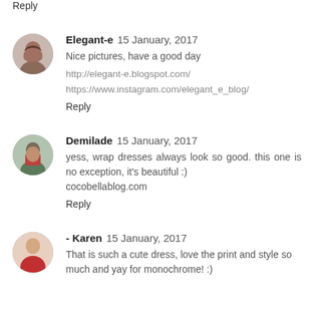Reply
Elegant-e  15 January, 2017
Nice pictures, have a good day
http://elegant-e.blogspot.com/
https://www.instagram.com/elegant_e_blog/
Reply
Demilade  15 January, 2017
yess, wrap dresses always look so good. this one is no exception, it's beautiful :)
cocobellablog.com
Reply
- Karen  15 January, 2017
That is such a cute dress, love the print and style so much and yay for monochrome! :)